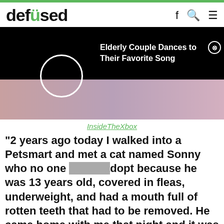defused
[Figure (screenshot): Dark advertisement overlay on top of a photo. Shows a loading circle spinner on black background with text 'Elderly Couple Dances to Their Favorite Song' and a close (X) button. Below the ad, partial photo of a cat is visible.]
InsideTheXbox
“2 years ago today I walked into a Petsmart and met a cat named Sonny who no one would adopt because he was 13 years old, covered in fleas, underweight, and had a mouth full of rotten teeth that had to be removed. He came home with me that night and it was the best decision I’ve ever made.”